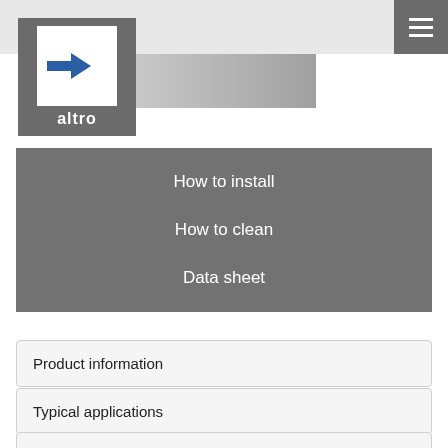[Figure (logo): Altro company logo: grey box with white square containing blue arrow icon and 'altro' text in white below]
How to install
How to clean
Data sheet
Product information
Typical applications